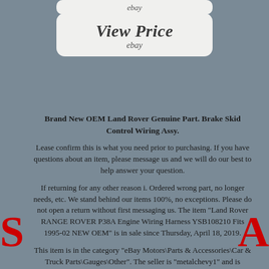[Figure (screenshot): Top eBay bar with 'ebay' text in a rounded rectangle button]
[Figure (screenshot): View Price button with 'View Price' in large italic bold text and 'ebay' below it, rounded rectangle]
Brand New OEM Land Rover Genuine Part. Brake Skid Control Wiring Assy.
Lease confirm this is what you need prior to purchasing. If you have questions about an item, please message us and we will do our best to help answer your question.
If returning for any other reason i. Ordered wrong part, no longer needs, etc. We stand behind our items 100%, no exceptions. Please do not open a return without first messaging us. The item "Land Rover RANGE ROVER P38A Engine Wiring Harness YSB108210 Fits 1995-02 NEW OEM" is in sale since Thursday, April 18, 2019.
This item is in the category "eBay Motors\Parts & Accessories\Car & Truck Parts\Gauges\Other". The seller is "metalchevy1" and is located in Fontana, California. This item can be shipped to United States, Canada, United Kingdom, Denmark, Romania, Slovakia, Bulgaria, Czech republic, Finland, Hungary, Latvia, Lithuania, Malta, Estonia, Australia, Greece, Portugal, Cyprus, Slovenia,